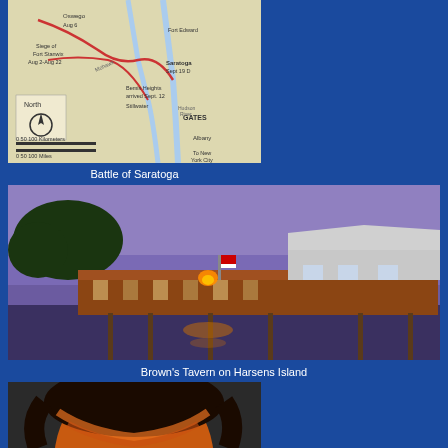[Figure (map): Map showing Battle of Saratoga, including locations such as Fort Stanwix, Fort Edward, Saratoga, Bemis Heights, Stillwater, Albany, with a North arrow and scale bar showing 0-100 Kilometers and 0-100 Miles, labeled GATES]
Battle of Saratoga
[Figure (photo): Twilight/dusk photograph of Brown's Tavern on Harsens Island, showing a large building on a waterfront dock with lights reflecting on the water and trees in the background against a purple sky]
Brown's Tavern on Harsens Island
[Figure (photo): Portrait photo of a person, partially visible, showing head and upper shoulders with dark hair and warm-toned colors]